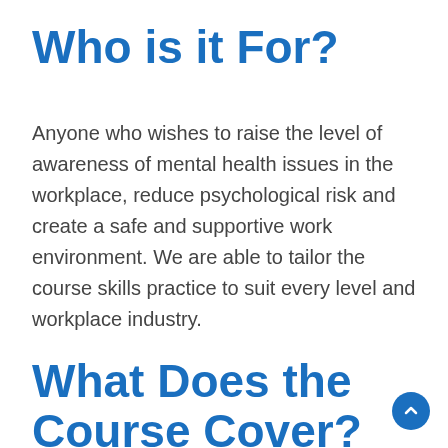Who is it For?
Anyone who wishes to raise the level of awareness of mental health issues in the workplace, reduce psychological risk and create a safe and supportive work environment. We are able to tailor the course skills practice to suit every level and workplace industry.
What Does the
Course Cover?